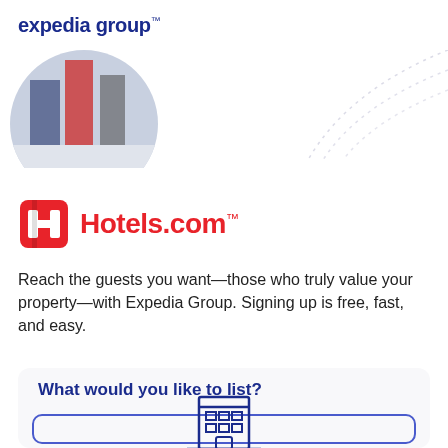[Figure (logo): Expedia Group logo in dark navy blue text]
[Figure (photo): Circular cropped photo showing people walking with luggage/shopping bags from the waist down]
[Figure (illustration): Decorative dotted arc/curve in light gray in the top right area]
[Figure (logo): Hotels.com logo with red H icon and red Hotels.com text with trademark symbol]
Reach the guests you want—those who truly value your property—with Expedia Group. Signing up is free, fast, and easy.
What would you like to list?
[Figure (illustration): Hotel/building icon outline in navy blue with teal/green dots at the base, shown inside a rounded rectangle bordered card]